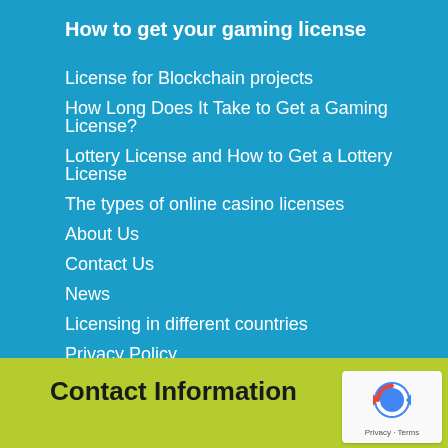How to get your gaming license
License for Blockchain projects
How Long Does It Take to Get a Gaming License?
Lottery License and How to Get a Lottery License
The types of online casino licenses
About Us
Contact Us
News
Licensing in different countries
Privacy Policy
Contact Information